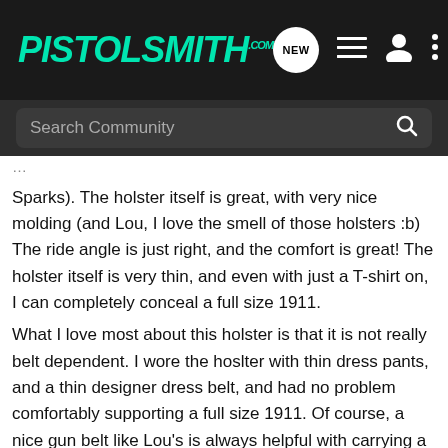PISTOLSMITH.com
Search Community
Sparks). The holster itself is great, with very nice molding (and Lou, I love the smell of those holsters :b) The ride angle is just right, and the comfort is great! The holster itself is very thin, and even with just a T-shirt on, I can completely conceal a full size 1911.
What I love most about this holster is that it is not really belt dependent. I wore the hoslter with thin dress pants, and a thin designer dress belt, and had no problem comfortably supporting a full size 1911. Of course, a nice gun belt like Lou's is always helpful with carrying a heavy load on the waist, but this time, it's not absolutely necessary. I even wore the holster inside my sleepwear pants (thin cotton pants with a drawstring). As long as I tighten the drawstring on the pants, I had not problem carrying the full size 1911 too. And when I draw the 1911, the holster is still in place. Those Talon clips really do